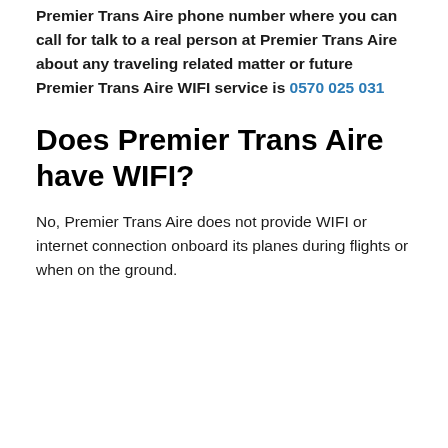Premier Trans Aire phone number where you can call for talk to a real person at Premier Trans Aire about any traveling related matter or future Premier Trans Aire WIFI service is 0570 025 031
Does Premier Trans Aire have WIFI?
No, Premier Trans Aire does not provide WIFI or internet connection onboard its planes during flights or when on the ground.